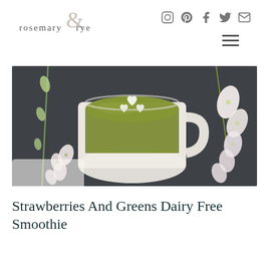rosemary & rye
[Figure (photo): Overhead view of a white mug filled with green smoothie topped with white heart-shaped cream designs, surrounded by white orchid flowers on a dark slate background]
Strawberries And Greens Dairy Free Smoothie